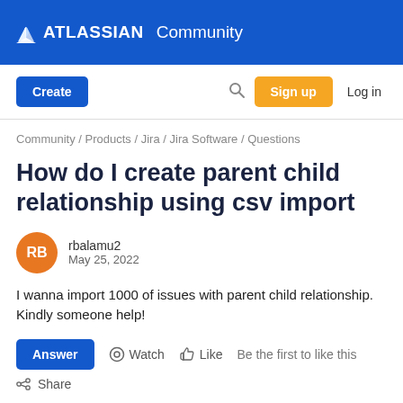ATLASSIAN Community
Create | Search | Sign up | Log in
Community / Products / Jira / Jira Software / Questions
How do I create parent child relationship using csv import
rbalamu2
May 25, 2022
I wanna import 1000 of issues with parent child relationship. Kindly someone help!
Answer  Watch  Like  Be the first to like this
Share